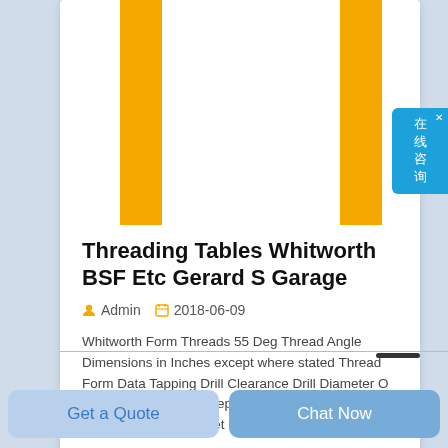Threading Tables Whitworth BSF Etc Gerard S Garage
Admin   2018-06-09
Whitworth Form Threads 55 Deg Thread Angle Dimensions in Inches except where stated Thread Form Data Tapping Drill Clearance Drill Diameter O Diameter Core Pitch Depth Radius Effective Dia T P I Dec Met Frac Dec Met Frac 1 8 quot 0 1250 0